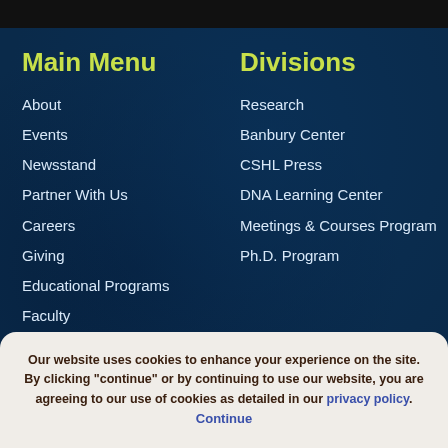Main Menu
About
Events
Newsstand
Partner With Us
Careers
Giving
Educational Programs
Faculty
Divisions
Research
Banbury Center
CSHL Press
DNA Learning Center
Meetings & Courses Program
Ph.D. Program
Our website uses cookies to enhance your experience on the site. By clicking "continue" or by continuing to use our website, you are agreeing to our use of cookies as detailed in our privacy policy. Continue